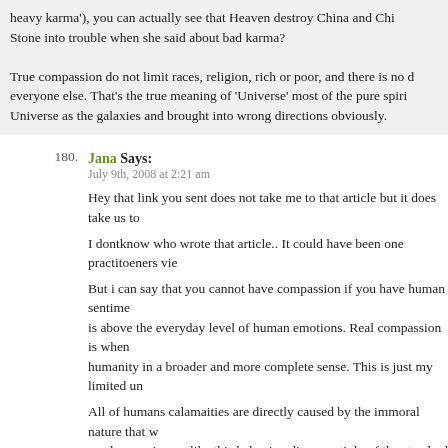heavy karma'), you can actually see that 'Heaven destroy China and Chi... Stone into trouble when she said about bad karma?

True compassion do not limit races, religion, rich or poor, and there is no d... everyone else. That's the true meaning of 'Universe' most of the pure spiri... Universe as the galaxies and brought into wrong directions obviously.
180. Jana Says:
July 9th, 2008 at 2:21 am

Hey that link you sent does not take me to that article but it does take us to...

I dontknow who wrote that article.. It could have been one practitoeners vie...

But i can say that you cannot have compassion if you have human sentime... is above the everyday level of human emotions. Real compassion is when... humanity in a broader and more complete sense. This is just my limited un...

All of humans calamaities are directly caused by the immoral nature that w... can keep going on like this behaving disrespectivly of the standard to be g... you even bring that into it? Karma exists and everyone on the planet has it... no one can only the Gods . But nothing happens by accident.
181. specul8r Says:
July 9th, 2008 at 2:27 am

¿¿¿¿ have stated:

"For someone who says he practises Buddhism and does not have any att... mate.. Buddhism is in chaos and demons and devils are everywhere in t...